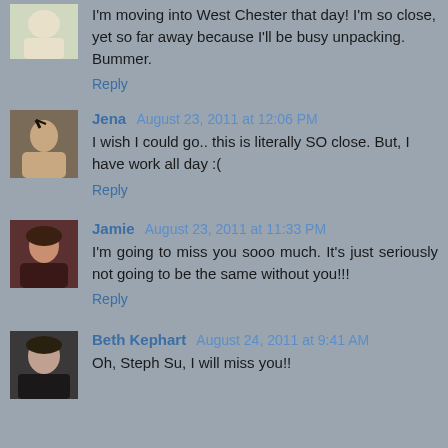I'm moving into West Chester that day! I'm so close, yet so far away because I'll be busy unpacking. Bummer.
Reply
Jena  August 23, 2011 at 12:06 PM
I wish I could go.. this is literally SO close. But, I have work all day :(
Reply
Jamie  August 23, 2011 at 11:33 PM
I'm going to miss you sooo much. It's just seriously not going to be the same without you!!!
Reply
Beth Kephart  August 24, 2011 at 9:41 AM
Oh, Steph Su, I will miss you!!